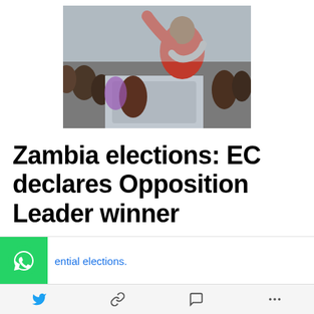[Figure (photo): A person in a red shirt with arm raised in celebration amid a crowd, likely a political rally scene]
Zambia elections: EC declares Opposition Leader winner
Electoral Commission of Zambia has declared Opposition Leader and President Lungu's long standing political rival Hakainde Hichilemaas the winner of the just-ended presidential elections.